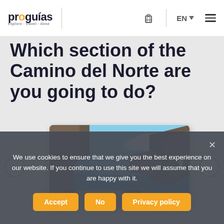proguías — EN navigation header with luggage icon and hamburger menu
Which section of the Camino del Norte are you going to do?
[Figure (photo): Coastal rocky arch landscape photo with boardwalk and sea, carousel with left and right navigation arrows]
We use cookies to ensure that we give you the best experience on our website. If you continue to use this site we will assume that you are happy with it.
Accept | No | Privacy policy